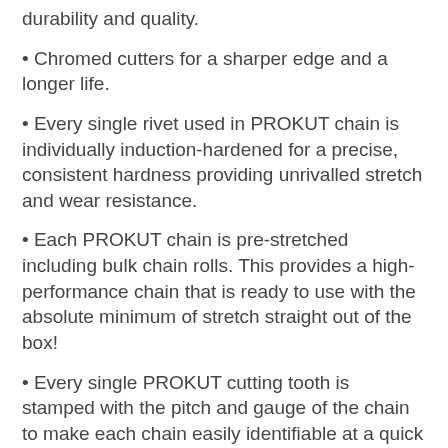durability and quality.
Chromed cutters for a sharper edge and a longer life.
Every single rivet used in PROKUT chain is individually induction-hardened for a precise, consistent hardness providing unrivalled stretch and wear resistance.
Each PROKUT chain is pre-stretched including bulk chain rolls. This provides a high-performance chain that is ready to use with the absolute minimum of stretch straight out of the box!
Every single PROKUT cutting tooth is stamped with the pitch and gauge of the chain to make each chain easily identifiable at a quick glance.
Individual Chain Features:
Semi-chisel cutters
Anti-kickback tie-straps for additional safety
NARROW CUT system means less power required for cutting...